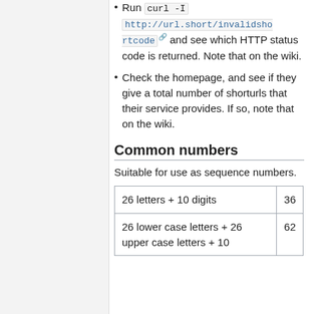Run curl -I http://url.short/invalidshortcode and see which HTTP status code is returned. Note that on the wiki.
Check the homepage, and see if they give a total number of shorturls that their service provides. If so, note that on the wiki.
Common numbers
Suitable for use as sequence numbers.
| 26 letters + 10 digits | 36 |
| 26 lower case letters + 26 upper case letters + 10 | 62 |